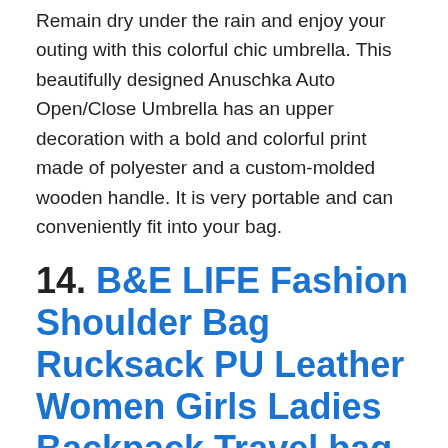Remain dry under the rain and enjoy your outing with this colorful chic umbrella. This beautifully designed Anuschka Auto Open/Close Umbrella has an upper decoration with a bold and colorful print made of polyester and a custom-molded wooden handle. It is very portable and can conveniently fit into your bag.
14. B&E LIFE Fashion Shoulder Bag Rucksack PU Leather Women Girls Ladies Backpack Travel bag :
If you are looking for a perfect backpack suitable for school, work, weekend outings, cycling, camping, traveling, etc., then this fashionable backpack is just the answer. The lightweight design makes it very easy to carry. It is made of high-quality PU leather, durable